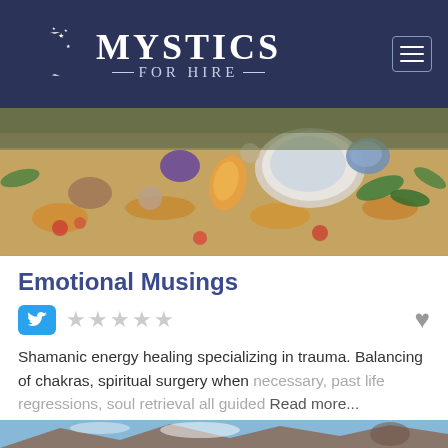MYSTICS FOR HIRE
[Figure (photo): Colorful healing crystals and stones arranged on a floral embroidered cloth outdoors]
Emotional Musings
[Figure (other): Twitter bird icon button (blue rounded square) and five empty star rating icons, with a heart/favorite icon on the right]
Shamanic energy healing specializing in trauma. Balancing of chakras, spiritual surgery when necessary, past life regressions, soul retrieval all guided Read more...
[Figure (photo): Partial bottom image showing a person outdoors with mountains and sky in background]